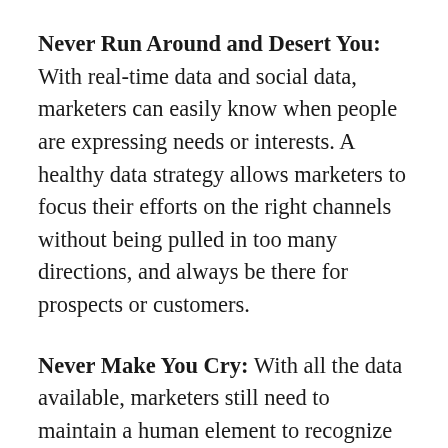Never Run Around and Desert You: With real-time data and social data, marketers can easily know when people are expressing needs or interests. A healthy data strategy allows marketers to focus their efforts on the right channels without being pulled in too many directions, and always be there for prospects or customers.
Never Make You Cry: With all the data available, marketers still need to maintain a human element to recognize when certain pain points might actually be too painful. A data-driven marketer's job is to entertain and inform aided by data, but also to build very